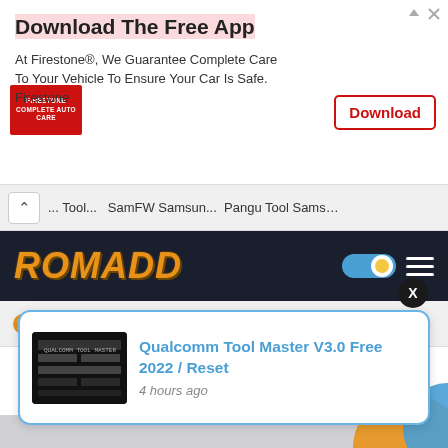[Figure (screenshot): Firestone advertisement banner with logo, text, and Download button]
... Tool... SamFW Samsun... Pangu Tool Sams...
[Figure (logo): ROMADD website logo in orange italic bold font on dark navy background with toggle and hamburger menu]
ALL CATEGORY
[Figure (screenshot): Select Category dropdown input field with chevron arrow]
[Figure (screenshot): Popup notification card: Qualcomm Tool Master V3.0 Free 2022 / Reset, 4 hours ago, with dark thumbnail image]
Qualcomm Tool Master V3.0 Free 2022 / Reset
4 hours ago